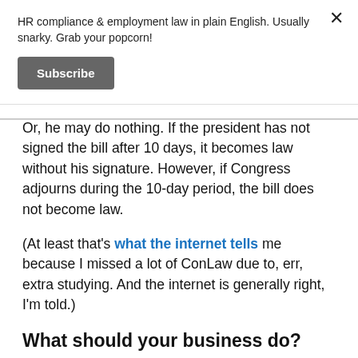HR compliance & employment law in plain English. Usually snarky. Grab your popcorn!
Subscribe
Or, he may do nothing. If the president has not signed the bill after 10 days, it becomes law without his signature. However, if Congress adjourns during the 10-day period, the bill does not become law.
(At least that's what the internet tells me because I missed a lot of ConLaw due to, err, extra studying. And the internet is generally right, I'm told.)
What should your business do?